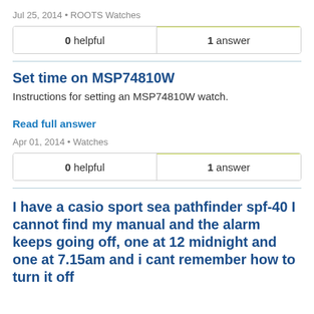Jul 25, 2014 • ROOTS Watches
| 0 helpful | 1 answer |
| --- | --- |
Set time on MSP74810W
Instructions for setting an MSP74810W watch.
Read full answer
Apr 01, 2014 • Watches
| 0 helpful | 1 answer |
| --- | --- |
I have a casio sport sea pathfinder spf-40 I cannot find my manual and the alarm keeps going off, one at 12 midnight and one at 7.15am and i cant remember how to turn it off